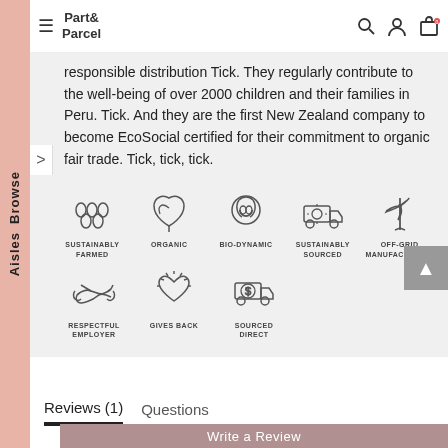Part & Parcel
responsible distribution Tick. They regularly contribute to the well-being of over 2000 children and their families in Peru. Tick. And they are the first New Zealand company to become EcoSocial certified for their commitment to organic fair trade. Tick, tick, tick.
[Figure (infographic): Eight certification/ethos icons: Sustainably Farmed, Organic, Bio-Dynamic, Sustainably Sourced, Off-Grid Manufacturing, Respectful Employer, Gives Back, Sourced Direct]
Reviews (1)   Questions
Write a Review